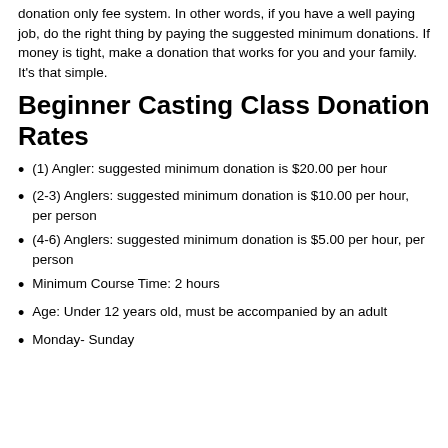donation only fee system.  In other words, if you have a well paying job, do the right thing by paying the suggested minimum donations.  If money is tight, make a donation that works for you and your family.  It's that simple.
Beginner Casting Class Donation Rates
(1) Angler: suggested minimum donation is $20.00 per hour
(2-3) Anglers: suggested minimum donation is $10.00 per hour, per person
(4-6) Anglers: suggested minimum donation is $5.00 per hour, per person
Minimum Course Time: 2 hours
Age: Under 12 years old, must be accompanied by an adult
Monday- Sunday